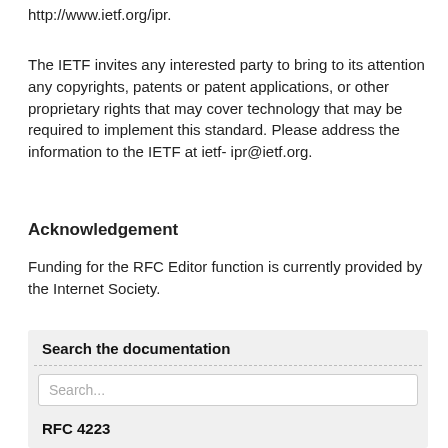http://www.ietf.org/ipr.
The IETF invites any interested party to bring to its attention any copyrights, patents or patent applications, or other proprietary rights that may cover technology that may be required to implement this standard. Please address the information to the IETF at ietf- ipr@ietf.org.
Acknowledgement
Funding for the RFC Editor function is currently provided by the Internet Society.
Search the documentation
Search...
RFC 4223